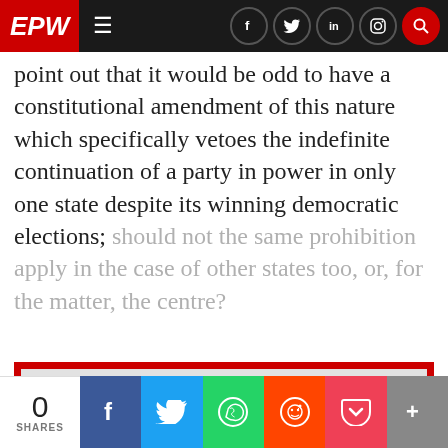EPW
point out that it would be odd to have a constitutional amendment of this nature which specifically vetoes the indefinite continuation of a party in power in only one state despite its winning democratic elections; should not the same prohibition apply in the case of other states too, or, for the matter, the centre?
[Figure (screenshot): EPW (Economic & Political Weekly) website screenshot displayed inside a browser/device mockup, shown within a red-bordered promotional box]
0 SHARES | Facebook | Twitter | WhatsApp | Reddit | Pocket | More